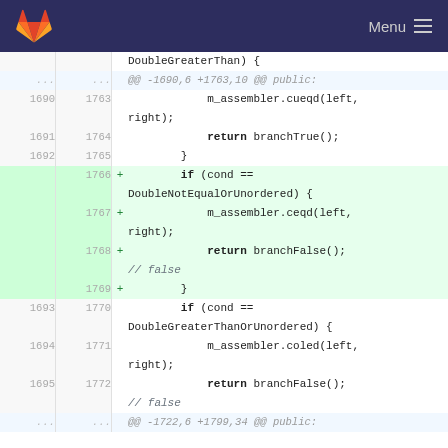GitLab Menu
[Figure (screenshot): Code diff view showing C++ source code changes. Lines 1690-1695 (old) and 1763-1772 (new) displayed. Added lines 1766-1769 (highlighted green) add an if-block for DoubleNotEqualOrUnordered condition calling m_assembler.ceqd and returning branchFalse(). Existing code shows similar patterns for DoubleGreaterThan and DoubleGreaterThanOrUnordered.]